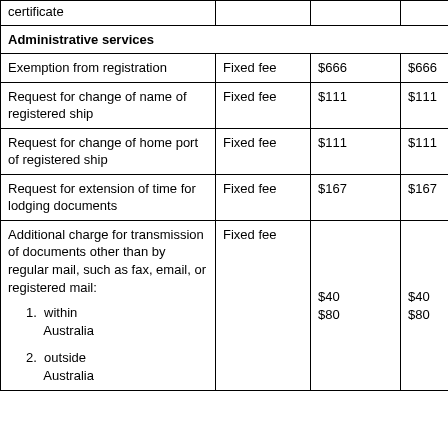| Service | Type | Fee (col1) | Fee (col2) |
| --- | --- | --- | --- |
| ...certificate |  |  |  |
| Administrative services |  |  |  |
| Exemption from registration | Fixed fee | $666 | $666 |
| Request for change of name of registered ship | Fixed fee | $111 | $111 |
| Request for change of home port of registered ship | Fixed fee | $111 | $111 |
| Request for extension of time for lodging documents | Fixed fee | $167 | $167 |
| Additional charge for transmission of documents other than by regular mail, such as fax, email, or registered mail:
1. within Australia
2. outside Australia | Fixed fee | $40
$80 | $40
$80 |